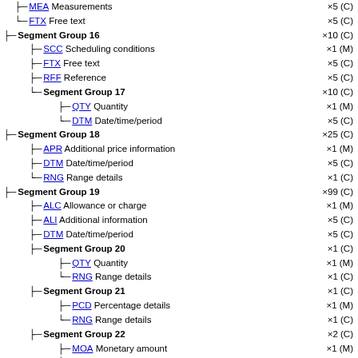MEA Measurements ×5 (C)
FTX Free text ×5 (C)
Segment Group 16 ×10 (C)
SCC Scheduling conditions ×1 (M)
FTX Free text ×5 (C)
RFF Reference ×5 (C)
Segment Group 17 ×10 (C)
QTY Quantity ×1 (M)
DTM Date/time/period ×5 (C)
Segment Group 18 ×25 (C)
APR Additional price information ×1 (M)
DTM Date/time/period ×5 (C)
RNG Range details ×1 (C)
Segment Group 19 ×99 (C)
ALC Allowance or charge ×1 (M)
ALI Additional information ×5 (C)
DTM Date/time/period ×5 (C)
Segment Group 20 ×1 (C)
QTY Quantity ×1 (M)
RNG Range details ×1 (C)
Segment Group 21 ×1 (C)
PCD Percentage details ×1 (M)
RNG Range details ×1 (C)
Segment Group 22 ×2 (C)
MOA Monetary amount ×1 (M)
RNG Range details ×1 (C)
Segment Group 23 ×1 (C)